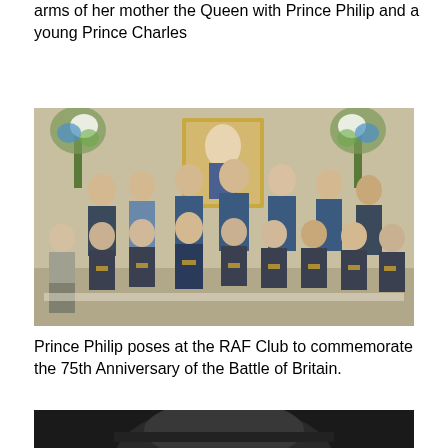arms of her mother the Queen with Prince Philip and a young Prince Charles
[Figure (photo): Group photo at the RAF Club showing veterans seated in front row and standing dignitaries including members of the royal family in military uniform in the back row, with a portrait of the Queen on the wall behind them and floral arrangements on either side.]
Prince Philip poses at the RAF Club to commemorate the 75th Anniversary of the Battle of Britain.
[Figure (photo): Partial photo showing the top of a head with a dark military hat, cropped at the bottom of the page.]